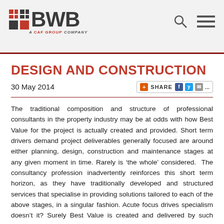[Figure (logo): BWB logo with red grid squares and 'A CAF GROUP COMPANY' subtitle, plus search and menu icons in header]
DESIGN AND CONSTRUCTION
30 May 2014
The traditional composition and structure of professional consultants in the property industry may be at odds with how Best Value for the project is actually created and provided. Short term drivers demand project deliverables generally focused are around either planning, design, construction and maintenance stages at any given moment in time. Rarely is ‘the whole’ considered.  The consultancy profession inadvertently reinforces this short term horizon, as they have traditionally developed and structured services that specialise in providing solutions tailored to each of the above stages, in a singular fashion. Acute focus drives specialism doesn’t it? Surely Best Value is created and delivered by such singular specialism, isn’t it?